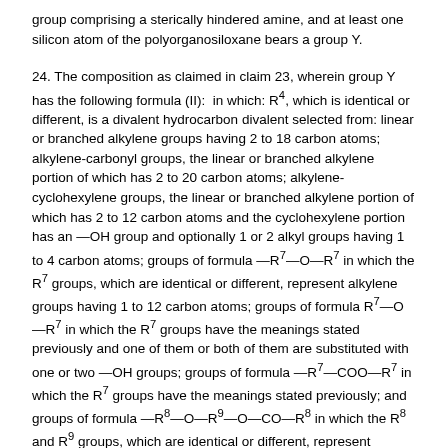group comprising a sterically hindered amine, and at least one silicon atom of the polyorganosiloxane bears a group Y.
24. The composition as claimed in claim 23, wherein group Y has the following formula (II):  in which: R4, which is identical or different, is a divalent hydrocarbon divalent selected from: linear or branched alkylene groups having 2 to 18 carbon atoms; alkylene-carbonyl groups, the linear or branched alkylene portion of which has 2 to 20 carbon atoms; alkylene-cyclohexylene groups, the linear or branched alkylene portion of which has 2 to 12 carbon atoms and the cyclohexylene portion has an —OH group and optionally 1 or 2 alkyl groups having 1 to 4 carbon atoms; groups of formula —R7—O—R7 in which the R7 groups, which are identical or different, represent alkylene groups having 1 to 12 carbon atoms; groups of formula R7—O—R7 in which the R7 groups have the meanings stated previously and one of them or both of them are substituted with one or two —OH groups; groups of formula —R7—COO—R7 in which the R7 groups have the meanings stated previously; and groups of formula —R8—O—R9—O—CO—R8 in which the R8 and R9 groups, which are identical or different, represent alkylene groups having 2 to 12 carbon atoms and the R9 group is optionally substituted with a hydroxyl group; U represents —O— or —NR10—, R10 being a hydrogen atom, a linear or branched alkyl group comprising 1 to 6 carbon atoms; R5, which is identical or different, is a linear or branched alkylene having 1 to 3 carbon atoms;